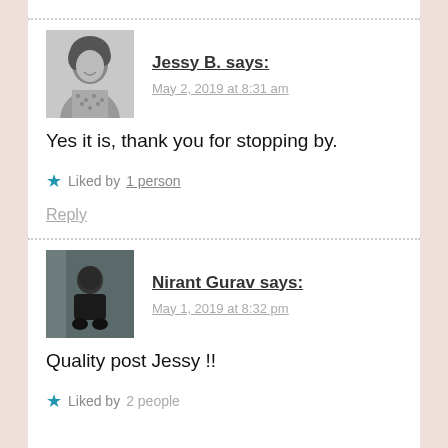[Figure (photo): Avatar photo of Jessy B., a woman with curly hair, smiling, black and white photo]
Jessy B. says:
May 2, 2019 at 8:31 am
Yes it is, thank you for stopping by.
★ Liked by 1 person
Reply
[Figure (photo): Avatar photo of Nirant Gurav, a man crouching, dark clothing, color photo]
Nirant Gurav says:
May 1, 2019 at 8:32 pm
Quality post Jessy !!
★ Liked by 2 people